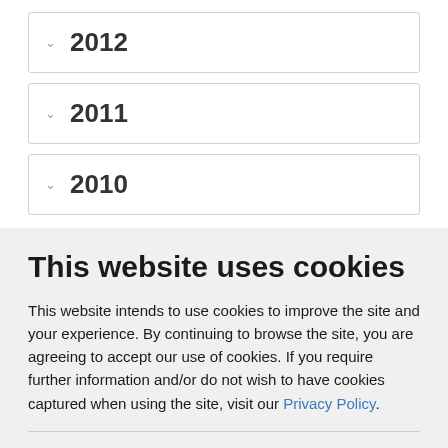2012
2011
2010
This website uses cookies
This website intends to use cookies to improve the site and your experience. By continuing to browse the site, you are agreeing to accept our use of cookies. If you require further information and/or do not wish to have cookies captured when using the site, visit our Privacy Policy.
ACCEPT COOKIES